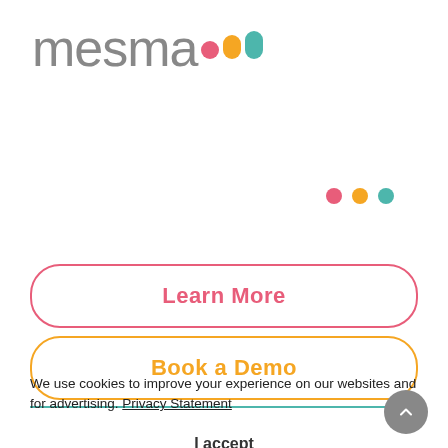[Figure (logo): Mesma logo with grey lowercase text 'mesma' and three colored pill/dot shapes in pink, yellow, and teal]
[Figure (other): Three colored dots: pink, yellow/orange, teal arranged horizontally]
Learn More
Book a Demo
We use cookies to improve your experience on our websites and for advertising. Privacy Statement
I accept